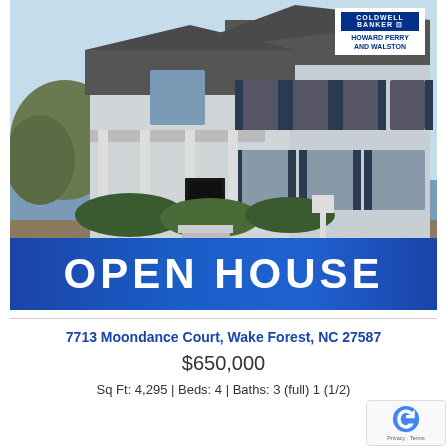[Figure (photo): Exterior photo of a two-story white/gray house with dark shutters, covered front porch with columns, front steps, and landscaping shrubs. Coldwell Banker Howard Perry and Walston logo in top-right corner. Blue 'OPEN HOUSE' banner overlaid at bottom of photo.]
7713 Moondance Court, Wake Forest, NC 27587
$650,000
Sq Ft: 4,295 | Beds: 4 | Baths: 3 (full) 1 (1/2)